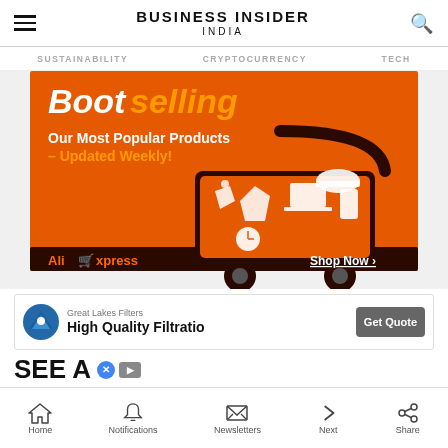BUSINESS INSIDER INDIA
SUSTAINABILITY   CRYPTOCURRENCY   TECH
[Figure (illustration): AliExpress advertisement showing a shopping cart with various products on an orange background. Text reads 'Bestselling Our Most Popular Products – Updated Weekly!' with 'AliExpress Shop Now >' at the bottom.]
[Figure (illustration): Great Lakes Filters advertisement: 'High Quality Filtration' with 'Get Quote' button]
SEE A
Home   Notifications   Newsletters   Next   Share